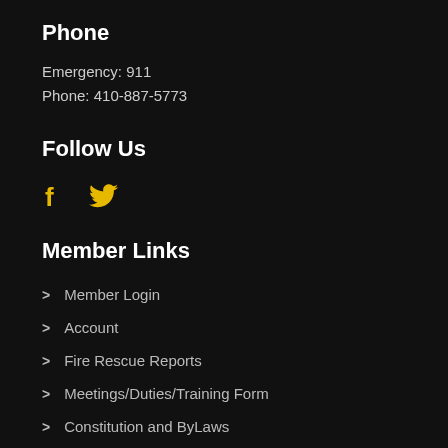Phone
Emergency: 911
Phone: 410-887-5773
Follow Us
[Figure (illustration): Facebook and Twitter social media icons in yellow/gold color]
Member Links
Member Login
Account
Fire Rescue Reports
Meetings/Duties/Training Form
Constitution and ByLaws